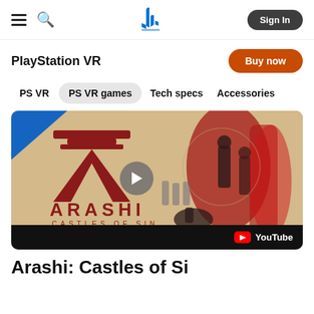PlayStation VR navigation bar with hamburger menu, search, PlayStation logo, and Sign In button
PlayStation VR
Buy now
PS VR
PS VR games
Tech specs
Accessories
[Figure (screenshot): Arashi: Castles of Sin game promotional video thumbnail with play button and YouTube logo bar at bottom]
Arashi: Castles of Sin